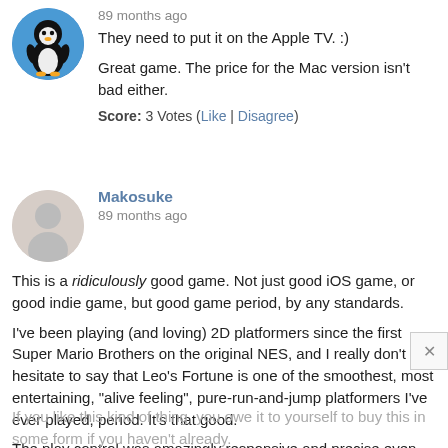[Figure (photo): Penguin avatar image, circular crop, blue background with penguin illustration]
89 months ago
They need to put it on the Apple TV. :)
Great game. The price for the Mac version isn't bad either.
Score: 3 Votes (Like | Disagree)
[Figure (illustration): Generic user silhouette avatar, circular, grey background]
Makosuke
89 months ago
This is a ridiculously good game. Not just good iOS game, or good indie game, but good game period, by any standards.
I've been playing (and loving) 2D platformers since the first Super Mario Brothers on the original NES, and I really don't hesitate to say that Leo's Fortune is one of the smoothest, most entertaining, "alive feeling", pure-run-and-jump platformers I've ever played, period. It's that good.
The play control was amazingly responsive and precise even with a touchscreen (usually the bane of precision twitch-button-press gaming, in my experience), so it might even be that much better on the Mac.
If you like this kind of thing, you owe it to yourself to buy this in some form if you haven't already.